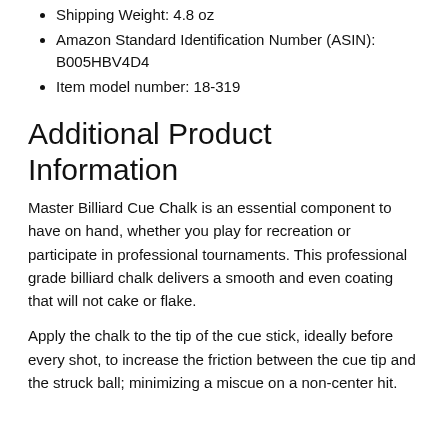Shipping Weight: 4.8 oz
Amazon Standard Identification Number (ASIN): B005HBV4D4
Item model number: 18-319
Additional Product Information
Master Billiard Cue Chalk is an essential component to have on hand, whether you play for recreation or participate in professional tournaments. This professional grade billiard chalk delivers a smooth and even coating that will not cake or flake.
Apply the chalk to the tip of the cue stick, ideally before every shot, to increase the friction between the cue tip and the struck ball; minimizing a miscue on a non-center hit.